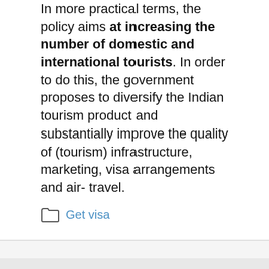In more practical terms, the policy aims at increasing the number of domestic and international tourists. In order to do this, the government proposes to diversify the Indian tourism product and substantially improve the quality of (tourism) infrastructure, marketing, visa arrangements and air- travel.
Get visa
Search ...